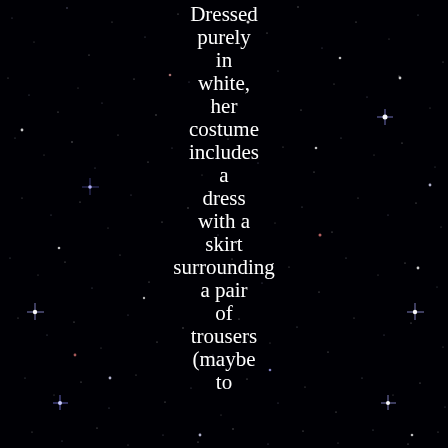[Figure (illustration): Black starfield background with numerous small white, blue-white, and pink-tinted stars scattered across the image, with some stars appearing as bright cross-shaped points of light.]
Dressed purely in white, her costume includes a dress with a skirt surrounding a pair of trousers (maybe to